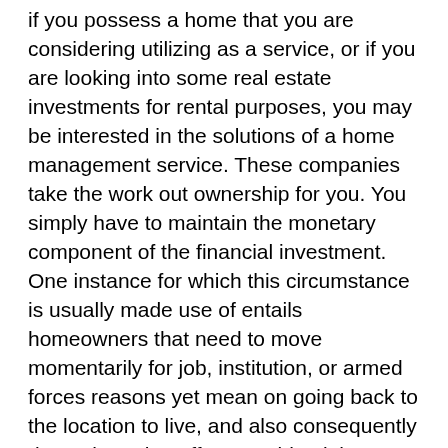if you possess a home that you are considering utilizing as a service, or if you are looking into some real estate investments for rental purposes, you may be interested in the solutions of a home management service. These companies take the work out ownership for you. You simply have to maintain the monetary component of the financial investment. One instance for which this circumstance is usually made use of entails homeowners that need to move momentarily for job, institution, or armed forces reasons yet mean on going back to the location to live, and also consequently do not intend to offer. A residential property administration business, in the absence of the property manager, will take on the obligations of discovering residents, preserving and also up keeping the home and also surroundings, as well as collecting rent. You, the landlord, pay them a regular monthly fee for their services out of what you bill for rent. This scenario works well if you can obtain adequate lease from a lessee both to pay the company and also to cover the home loan, tax obligation, and also insurance coverage on the building. There may be little profit,